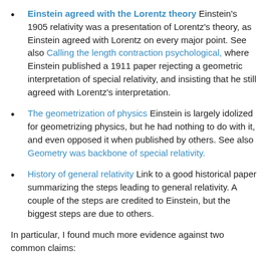Einstein agreed with the Lorentz theory Einstein's 1905 relativity was a presentation of Lorentz's theory, as Einstein agreed with Lorentz on every major point. See also Calling the length contraction psychological, where Einstein published a 1911 paper rejecting a geometric interpretation of special relativity, and insisting that he still agreed with Lorentz's interpretation.
The geometrization of physics Einstein is largely idolized for geometrizing physics, but he had nothing to do with it, and even opposed it when published by others. See also Geometry was backbone of special relativity.
History of general relativity Link to a good historical paper summarizing the steps leading to general relativity. A couple of the steps are credited to Einstein, but the biggest steps are due to others.
In particular, I found much more evidence against two common claims: